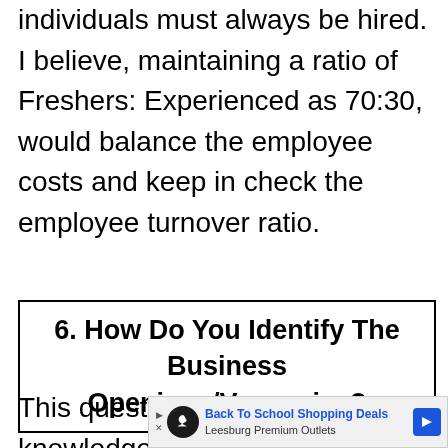individuals must always be hired. I believe, maintaining a ratio of Freshers: Experienced as 70:30, would balance the employee costs and keep in check the employee turnover ratio.
6. How Do You Identify The Business Openings/Vacancies?
This question checks your knowledge in regards to the practical working
[Figure (other): Advertisement banner for Back To School Shopping Deals at Leesburg Premium Outlets]